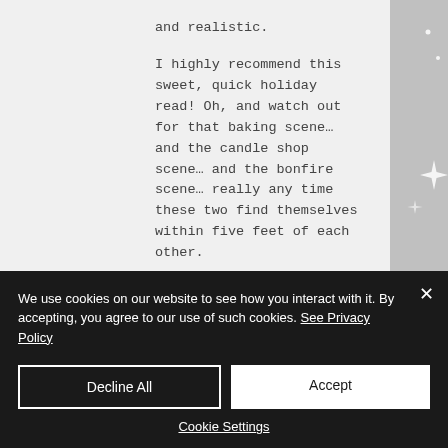and realistic.
I highly recommend this sweet, quick holiday read! Oh, and watch out for that baking scene… and the candle shop scene… and the bonfire scene… really any time these two find themselves within five feet of each other.
You can find the book here. Happy reading!
We use cookies on our website to see how you interact with it. By accepting, you agree to our use of such cookies. See Privacy Policy
Decline All
Accept
Cookie Settings